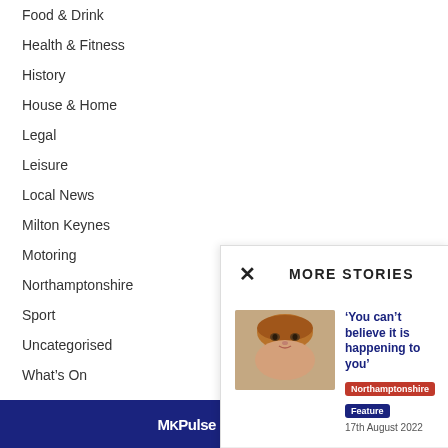Food & Drink
Health & Fitness
History
House & Home
Legal
Leisure
Local News
Milton Keynes
Motoring
Northamptonshire
Sport
Uncategorised
What's On
MORE STORIES
[Figure (photo): Close-up photo of a young child with reddish-brown hair]
‘You can’t believe it is happening to you’
Northamptonshire  Feature
17th August 2022
[Figure (photo): Group photo of people at a charity golf day event]
Tee off at Charity Golf Day and help enhance facilities for...
Northamptonshire  Sport
17th August 2022
MKPulse  NNPulse